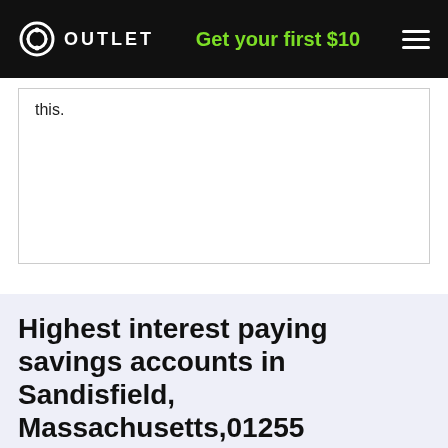OUTLET | Get your first $10
this.
Highest interest paying savings accounts in Sandisfield, Massachusetts,01255
Here is a list of the best savings accounts offered in Sandisfield, Massachusetts We have compiled a list to make it easier for you. On this